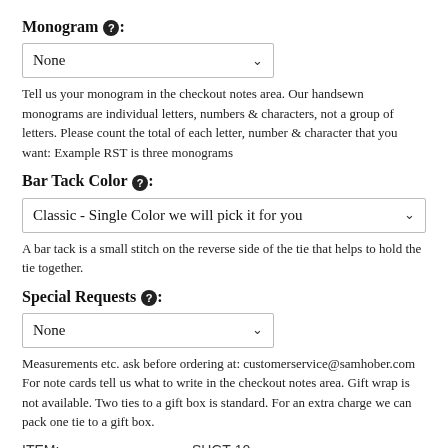Monogram ❓:
[Figure (other): Dropdown selector showing 'None' with a chevron arrow]
Tell us your monogram in the checkout notes area. Our handsewn monograms are individual letters, numbers & characters, not a group of letters. Please count the total of each letter, number & character that you want: Example RST is three monograms
Bar Tack Color ❓:
[Figure (other): Dropdown selector showing 'Classic - Single Color we will pick it for you' with a chevron arrow]
A bar tack is a small stitch on the reverse side of the tie that helps to hold the tie together.
Special Requests ❓:
[Figure (other): Dropdown selector showing 'None' with a chevron arrow]
Measurements etc. ask before ordering at: customerservice@samhober.com For note cards tell us what to write in the checkout notes area. Gift wrap is not available. Two ties to a gift box is standard. For an extra charge we can pack one tie to a gift box.
ITEM:    SHGT-10